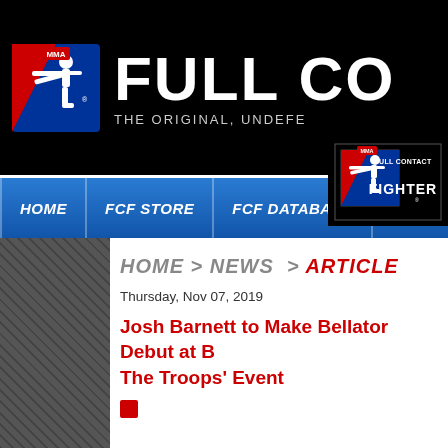[Figure (logo): MMA Full Contact Fighter website header with MMA logo (baseball-style figure kicking, red white blue) and FULL CO... site name in white bold italic, tagline THE ORIGINAL, UNDEFE...]
HOME | FCF STORE | FCF DATABASE | FCF RADIO
[Figure (logo): Full Contact MMA Fighter logo badge on black background, with figure kicking and FIGHTER text]
HOME > NEWS > ARTICLE
Thursday, Nov 07, 2019
Josh Barnett to Make Bellator Debut at [Bellator] The Troops' Event